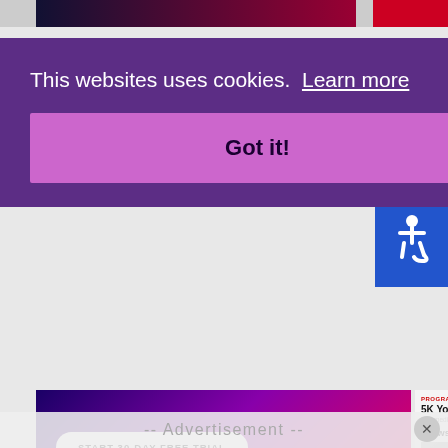[Figure (screenshot): Background website screenshot showing a fitness app advertisement and meal prep image]
[Figure (screenshot): Cookie consent banner overlay with purple background reading 'This websites uses cookies. Learn more' and a pink 'Got it!' button]
This websites uses cookies.  Learn more
Got it!
[Figure (screenshot): Fitness app ad: START 30-DAY FREE TRIAL button with #1 audio fitness app text on colorful gradient background]
START 30-DAY FREE TRIAL
#1 audio fitness app
[Figure (screenshot): Right sidebar showing PROGRAM label, '5K Your Way' title, 'Intermediate · 5 weeks' subtitle, 'Browse all cate' link and thumbnail image of person running]
PROGRAM
5K Your Way
Intermediate · 5 weeks
Browse all cate
[Figure (photo): Top-down photo of meal prep containers with food (fish, vegetables, avocado) in a dark lunch bag, with a Trifecta branded container visible]
-- Advertisement --
[Figure (logo): Blue accessibility icon (wheelchair symbol) in blue square on right side]